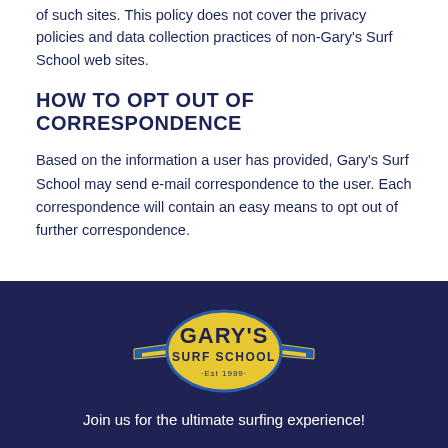of such sites. This policy does not cover the privacy policies and data collection practices of non-Gary's Surf School web sites.
HOW TO OPT OUT OF CORRESPONDENCE
Based on the information a user has provided, Gary's Surf School may send e-mail correspondence to the user. Each correspondence will contain an easy means to opt out of further correspondence.
[Figure (logo): Gary's Surf School logo: yellow oval with blue wings/banner, text 'GARY'S SURF SCHOOL Est 1989']
Join us for the ultimate surfing experience!